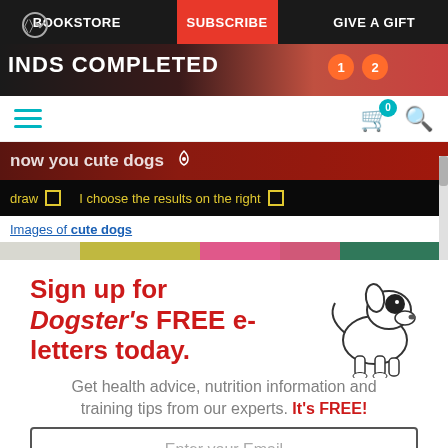BOOKSTORE | SUBSCRIBE | GIVE A GIFT
[Figure (screenshot): Partial website header showing navigation bar with BOOKSTORE, SUBSCRIBE (highlighted red), GIVE A GIFT links, hamburger menu icon in teal, cart with badge showing 0, and search icon]
Images of cute dogs
[Figure (screenshot): Partial image strip with checkbox options 'draw' and 'I choose the results on the right']
Sign up for Dogster's FREE e-letters today.
Get health advice, nutrition information and training tips from our experts. It's FREE!
[Figure (illustration): Line drawing of a small dog (Bull Terrier style) with black spot around eye, standing facing right]
Enter your Email
YES! SIGN ME UP